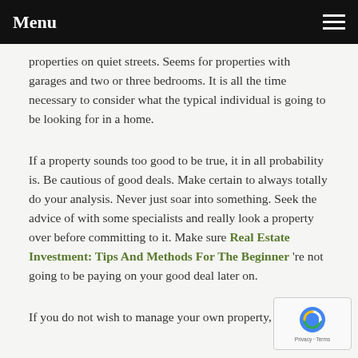Menu
properties on quiet streets. Seems for properties with garages and two or three bedrooms. It is all the time necessary to consider what the typical individual is going to be looking for in a home.
If a property sounds too good to be true, it in all probability is. Be cautious of good deals. Make certain to always totally do your analysis. Never just soar into something. Seek the advice of with some specialists and really look a property over before committing to it. Make sure Real Estate Investment: Tips And Methods For The Beginner 're not going to be paying on your good deal later on.
If you do not wish to manage your own property,